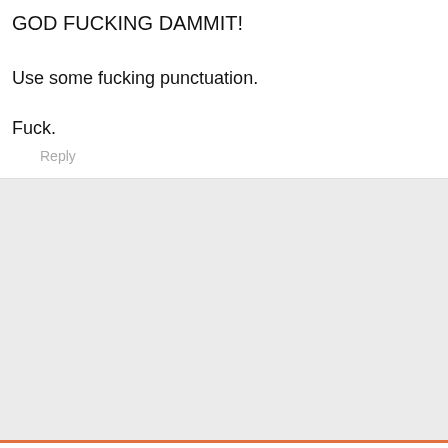GOD FUCKING DAMMIT!
Use some fucking punctuation.
Fuck.
Reply